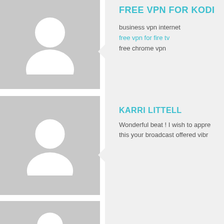[Figure (illustration): Gray placeholder avatar silhouette for first entry]
FREE VPN FOR KODI (partial title cut off)
business vpn internet
free vpn for fire tv
free chrome vpn
[Figure (illustration): Gray placeholder avatar silhouette for Karri Littell]
KARRI LITTELL
Wonderful beat ! I wish to appre... this your broadcast offered vibr...
[Figure (illustration): Gray placeholder avatar silhouette for Kirk Karlsson]
KIRK KARLSSON